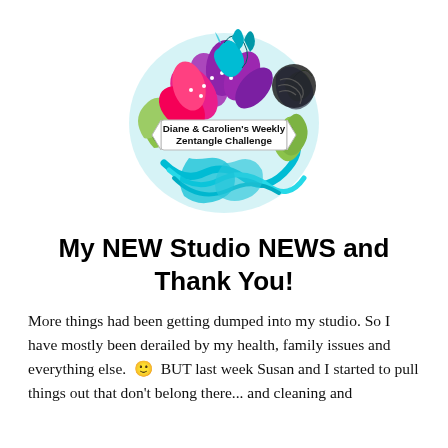[Figure (logo): Diane & Carolien's Weekly Zentangle Challenge logo — a decorative circular arrangement of colorful flowers, leaves, swirls, and zentangle patterns in purple, pink, teal, green, and black, with a white banner ribbon in the center reading 'Diane & Carolien's Weekly Zentangle Challenge']
My NEW Studio NEWS and Thank You!
More things had been getting dumped into my studio. So I have mostly been derailed by my health, family issues and everything else. 🙂 BUT last week Susan and I started to pull things out that don't belong there... and cleaning and